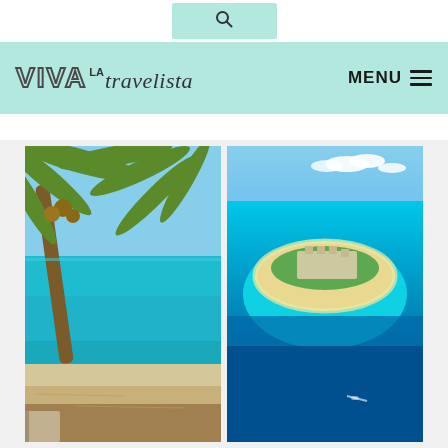Search bar with search icon
VIVA LA travelista
MENU
[Figure (photo): Tropical beach scene with a palm tree in the foreground, coconuts visible, turquoise ocean water and blue sky in the background, white sand at the bottom]
[Figure (photo): Aerial view of a small island or atoll surrounded by vivid turquoise and deep blue ocean water, with buildings and vegetation visible on the island]